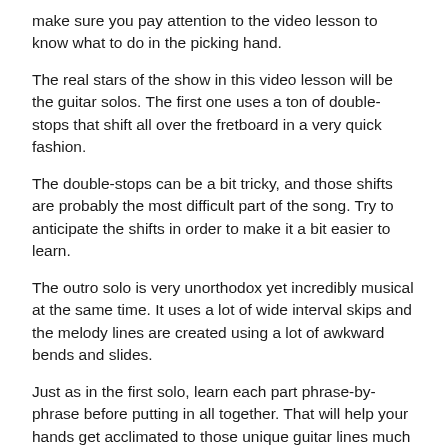make sure you pay attention to the video lesson to know what to do in the picking hand.
The real stars of the show in this video lesson will be the guitar solos. The first one uses a ton of double-stops that shift all over the fretboard in a very quick fashion.
The double-stops can be a bit tricky, and those shifts are probably the most difficult part of the song. Try to anticipate the shifts in order to make it a bit easier to learn.
The outro solo is very unorthodox yet incredibly musical at the same time. It uses a lot of wide interval skips and the melody lines are created using a lot of awkward bends and slides.
Just as in the first solo, learn each part phrase-by-phrase before putting in all together. That will help your hands get acclimated to those unique guitar lines much quicker.
Have fun learning this 80's classic from Tears for Fears!
Carl...